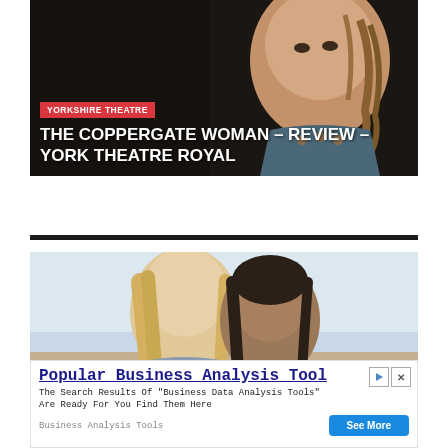[Figure (photo): Theatre photo of a woman in costume with braided hair against a dark background, with red 'YORKSHIRE THEATRE' badge overlay and white bold title text 'THE COPPERGATE WOMAN – REVIEW – YORK THEATRE ROYAL']
[Figure (photo): Photo of two people (a blonde woman and a dark-haired person) in an outdoor scene with sky background]
Popular Business Analysis Tool
The Search Results Of "Business Data Analysis Tools" Are Ready For You Find Them Here
Business Analysis Tools
See More